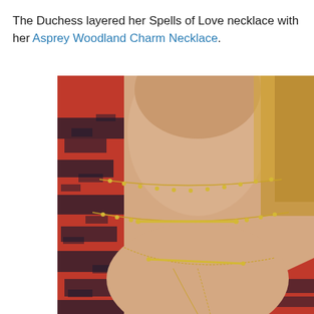The Duchess layered her Spells of Love necklace with her Asprey Woodland Charm Necklace.
[Figure (photo): Close-up photo of a woman's neck and upper chest area showing layered gold necklaces. She is wearing a red and black houndstooth patterned jacket. Three delicate gold necklaces are visible: two with small beaded/satellite details and one simple chain.]